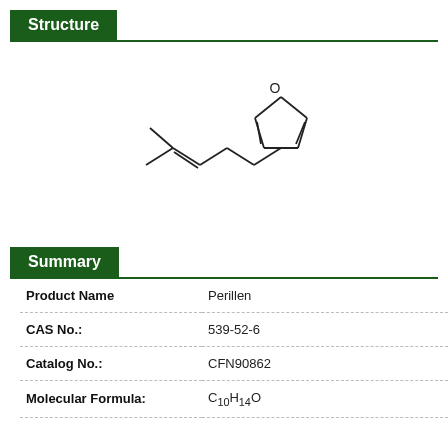Structure
[Figure (chemical-structure): Chemical structure of Perillen: a furan ring connected via a propyl chain to an isobutenyl group (3-(4-methylpent-3-en-1-yl)furan)]
Summary
| Product Name | Perillen |
| CAS No.: | 539-52-6 |
| Catalog No.: | CFN90862 |
| Molecular Formula: | C10H14O |